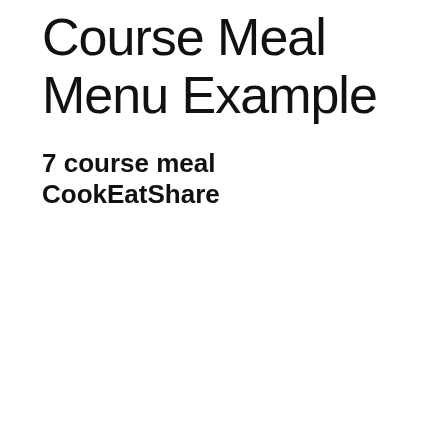Course Meal Menu Example
7 course meal
CookEatShare
[Figure (screenshot): YouTube video thumbnail showing a YouTube embed with Dormy House Hotel channel icon and title 'Dormy House Hotel - 7-co...' with a food photo showing an elegant plated dish with meat, vegetables and broth on a white plate, with a red YouTube play button overlay]